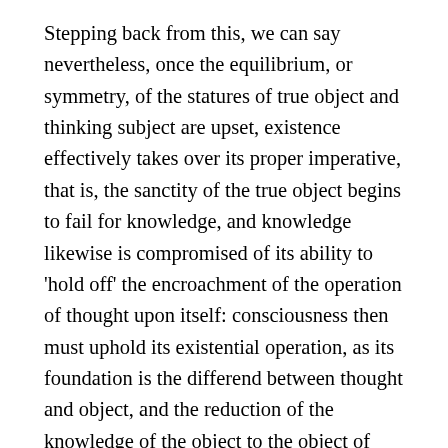Stepping back from this, we can say nevertheless, once the equilibrium, or symmetry, of the statures of true object and thinking subject are upset, existence effectively takes over its proper imperative, that is, the sanctity of the true object begins to fail for knowledge, and knowledge likewise is compromised of its ability to 'hold off' the encroachment of the operation of thought upon itself: consciousness then must uphold its existential operation, as its foundation is the differend between thought and object, and the reduction of the knowledge of the object to the object of knowledge eventually brings thought into a consideration of itself, as an object of itself. Only in the balance that holds the (inner) subject and (outer) object at sufficient distance in